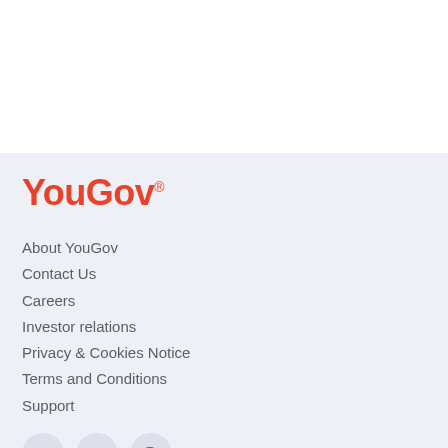[Figure (logo): YouGov logo in red/orange color with registered trademark symbol]
About YouGov
Contact Us
Careers
Investor relations
Privacy & Cookies Notice
Terms and Conditions
Support
[Figure (illustration): Social media icons: Facebook, Twitter, RSS feed - circular grey buttons]